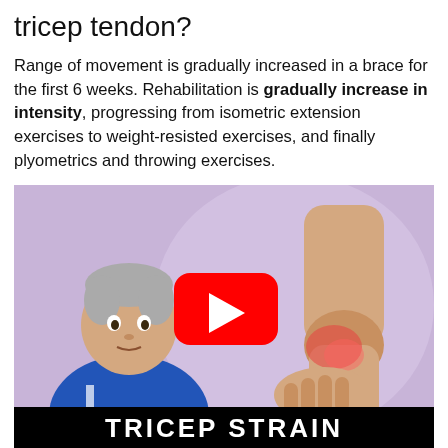tricep tendon?
Range of movement is gradually increased in a brace for the first 6 weeks. Rehabilitation is gradually increase in intensity, progressing from isometric extension exercises to weight-resisted exercises, and finally plyometrics and throwing exercises.
[Figure (photo): Video thumbnail showing a middle-aged man in a blue polo shirt on a purple background, alongside an arm with a highlighted elbow injury area. A YouTube play button is overlaid in the center. A black bar at the bottom reads 'TRICEP STRAIN' in bold white capital letters.]